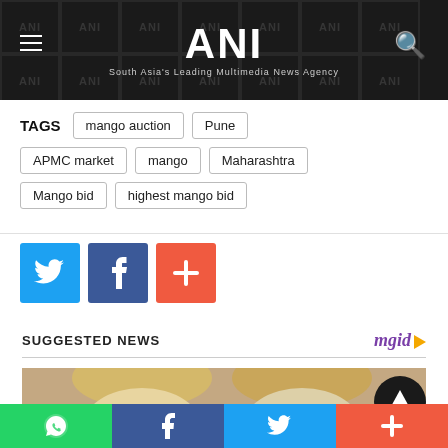ANI - South Asia's Leading Multimedia News Agency
TAGS   mango auction   Pune   APMC market   mango   Maharashtra   Mango bid   highest mango bid
[Figure (other): Social share buttons: Twitter (blue), Facebook (dark blue), Plus/More (orange-red)]
SUGGESTED NEWS
[Figure (photo): News thumbnail image showing two people, partially visible]
Bottom share bar: WhatsApp, Facebook, Twitter, More